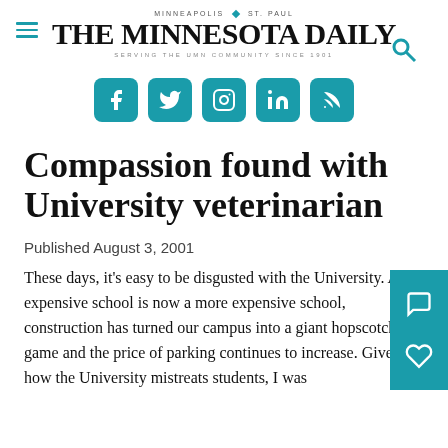MINNEAPOLIS | ST. PAUL — THE MINNESOTA DAILY — SERVING THE UMN COMMUNITY SINCE 1901
[Figure (logo): Social media icons: Facebook, Twitter, Instagram, LinkedIn, RSS — teal rounded square buttons]
Compassion found with University veterinarian
Published August 3, 2001
These days, it's easy to be disgusted with the University. An expensive school is now a more expensive school, construction has turned our campus into a giant hopscotch game and the price of parking continues to increase. Given how the University mistreats students, I was